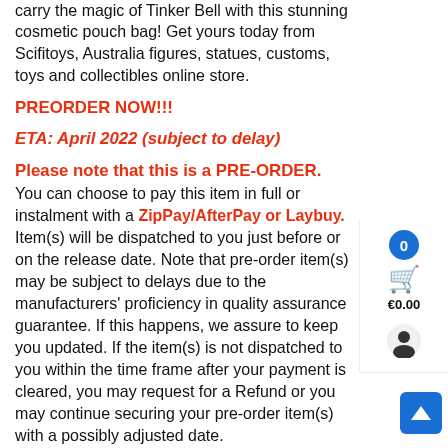carry the magic of Tinker Bell with this stunning cosmetic pouch bag! Get yours today from Scifitoys, Australia figures, statues, customs, toys and collectibles online store.
PREORDER NOW!!!
ETA: April 2022 (subject to delay)
Please note that this is a PRE-ORDER. You can choose to pay this item in full or instalment with a ZipPay/AfterPay or Laybuy. Item(s) will be dispatched to you just before or on the release date. Note that pre-order item(s) may be subject to delays due to the manufacturers' proficiency in quality assurance guarantee. If this happens, we assure to keep you updated. If the item(s) is not dispatched to you within the time frame after your payment is cleared, you may request for a Refund or you may continue securing your pre-order item(s) with a possibly adjusted date.